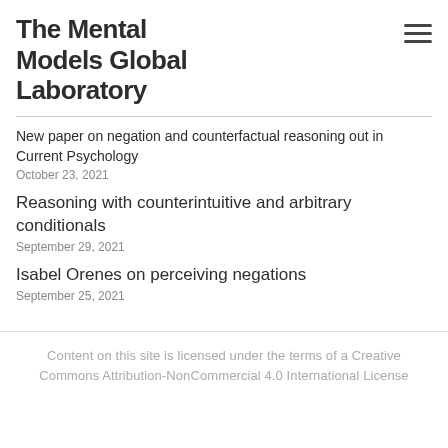The Mental Models Global Laboratory
New paper on negation and counterfactual reasoning out in Current Psychology
October 23, 2021
Reasoning with counterintuitive and arbitrary conditionals
September 29, 2021
Isabel Orenes on perceiving negations
September 25, 2021
Content on this site is licensed under the terms of a Creative Commons Attribution-NonCommercial 4.0 International License